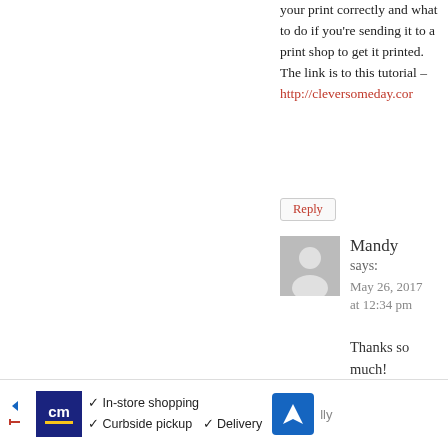your print correctly and what to do if you're sending it to a print shop to get it printed. The link is to this tutorial – http://cleversomeday.cor
Reply
Mandy says: May 26, 2017 at 12:34 pm
Thanks so much!
30+ Father's Day Gift Ideas | Hunny I'm Home
June 9, 2017 at 4:17 am
[Figure (infographic): Advertisement bar with CM logo, checkmarks for in-store shopping, curbside pickup, delivery, and navigation icon]